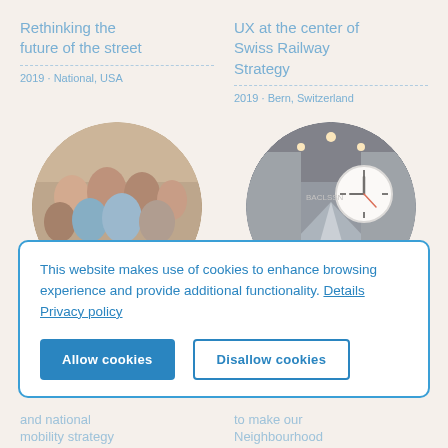Rethinking the future of the street
2019 · National, USA
[Figure (photo): Circular photo of a group of people gathered together, appearing to be in an indoor public space]
UX at the center of Swiss Railway Strategy
2019 · Bern, Switzerland
[Figure (photo): Circular photo of a Swiss railway station interior with a large clock visible]
This website makes use of cookies to enhance browsing experience and provide additional functionality. Details   Privacy policy
Allow cookies
Disallow cookies
and national mobility strategy
to make our Neighbourhood